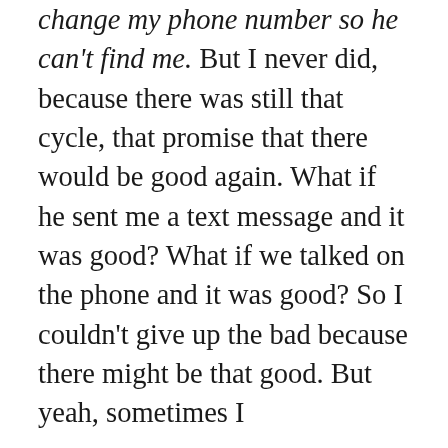change my phone number so he can't find me. But I never did, because there was still that cycle, that promise that there would be good again. What if he sent me a text message and it was good? What if we talked on the phone and it was good? So I couldn't give up the bad because there might be that good. But yeah, sometimes I